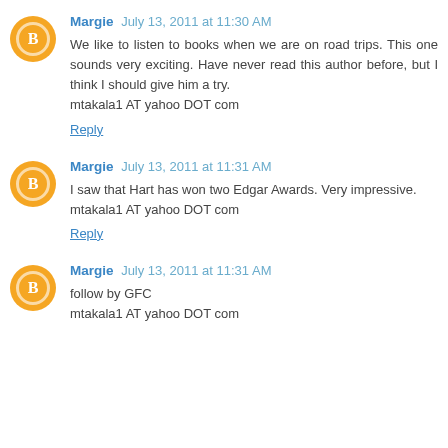Margie July 13, 2011 at 11:30 AM
We like to listen to books when we are on road trips. This one sounds very exciting. Have never read this author before, but I think I should give him a try.
mtakala1 AT yahoo DOT com
Reply
Margie July 13, 2011 at 11:31 AM
I saw that Hart has won two Edgar Awards. Very impressive.
mtakala1 AT yahoo DOT com
Reply
Margie July 13, 2011 at 11:31 AM
follow by GFC
mtakala1 AT yahoo DOT com